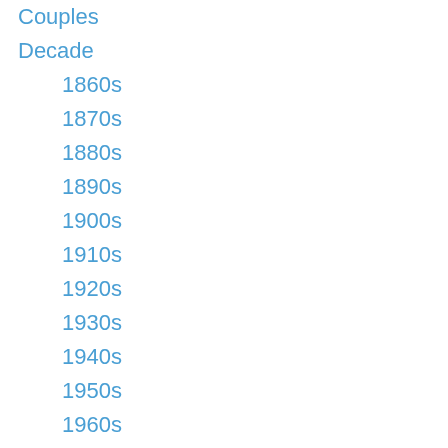Couples
Decade
1860s
1870s
1880s
1890s
1900s
1910s
1920s
1930s
1940s
1950s
1960s
1970s
Ethnic Dress
Facial Hair
Family
Family Reunion
Farming
Gem-tintype